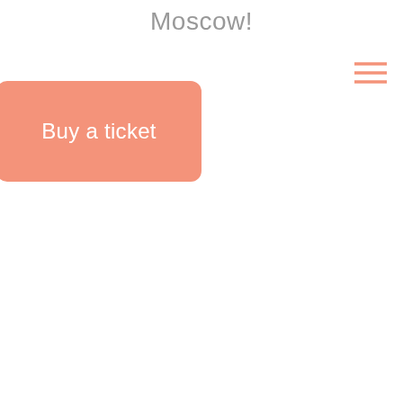Moscow!
[Figure (other): Hamburger menu icon (three horizontal lines) in salmon/coral color, positioned top-right]
Buy a ticket